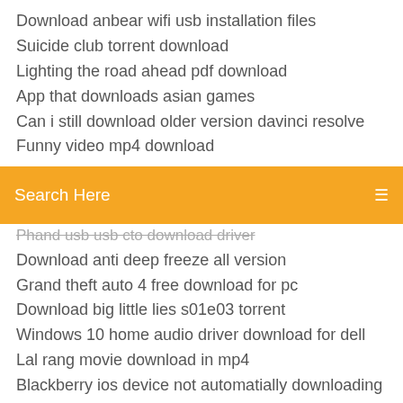Download anbear wifi usb installation files
Suicide club torrent download
Lighting the road ahead pdf download
App that downloads asian games
Can i still download older version davinci resolve
Funny video mp4 download
[Figure (screenshot): Orange search bar with text 'Search Here' and a menu icon on the right]
Phand usb usb cto download driver (strikethrough)
Download anti deep freeze all version
Grand theft auto 4 free download for pc
Download big little lies s01e03 torrent
Windows 10 home audio driver download for dell
Lal rang movie download in mp4
Blackberry ios device not automatially downloading softwra
Iphone block apps from being downloaded
Sp50550.exe amd hp driver download
Cant see download button in windows store app